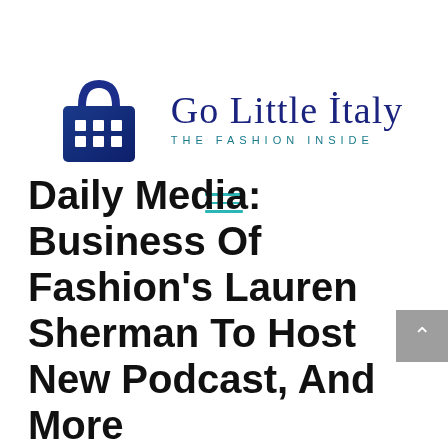[Figure (logo): Go Little Italy logo with shopping bag icon and tagline 'THE FASHION INSIDE']
[Figure (infographic): Hamburger menu icon with three teal horizontal lines]
[Figure (other): Gray scroll-to-top button with upward chevron arrow]
Daily Media: Business Of Fashion's Lauren Sherman To Host New Podcast, And More